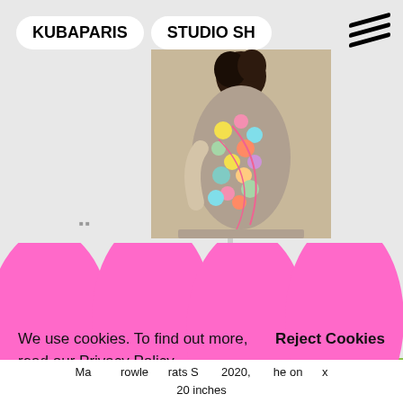[Figure (screenshot): Gallery website screenshot showing artwork hanging on white wall, with pink blob cookie consent overlay and navigation buttons]
We use cookies. To find out more, read our Privacy Policy.
Reject Cookies
Allow Cookies
Ma... rowle... rats S... 2020, ...he on... ...x 20 inches